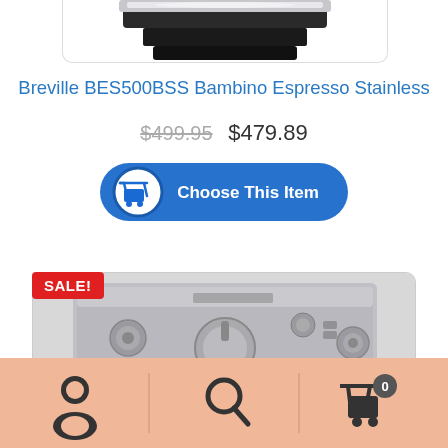[Figure (photo): Partial view of a stainless steel espresso machine, bottom portion, on white background]
Breville BES500BSS Bambino Espresso Stainless
$499.95  $479.89
[Figure (other): Blue rounded 'Choose This Item' button with shopping cart icon]
[Figure (photo): Partial top-down view of a Breville stainless steel espresso machine with dials and controls, with red SALE badge]
[Figure (other): Bottom navigation bar with user icon, search icon, and cart icon (badge: 0) on peach/salmon background]